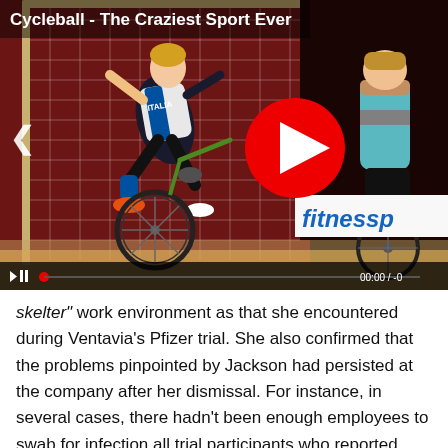[Figure (screenshot): A video thumbnail/player showing a cycleball (indoor cycling football) match. A player in an Italy jersey is near the goal net doing a bicycle trick. Another player is visible on the right. A large red play button is centered. Video title reads 'Cycleball - The Craziest Sport Ever'. A 'fitnessp...' sponsor banner is visible. Controls bar at bottom shows time 00:00 / -0.]
skelter" work environment as that she encountered during Ventavia's Pfizer trial. She also confirmed that the problems pinpointed by Jackson had persisted at the company after her dismissal. For instance, in several cases, there hadn't been enough employees to swab for infection all trial participants who reported Covid-like symptoms.